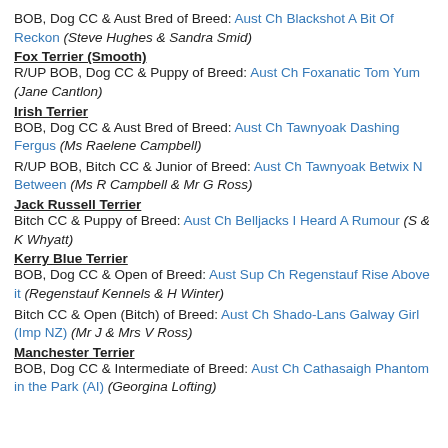BOB, Dog CC & Aust Bred of Breed: Aust Ch Blackshot A Bit Of Reckon (Steve Hughes & Sandra Smid)
Fox Terrier (Smooth)
R/UP BOB, Dog CC & Puppy of Breed: Aust Ch Foxanatic Tom Yum (Jane Cantlon)
Irish Terrier
BOB, Dog CC & Aust Bred of Breed: Aust Ch Tawnyoak Dashing Fergus (Ms Raelene Campbell)
R/UP BOB, Bitch CC & Junior of Breed: Aust Ch Tawnyoak Betwix N Between (Ms R Campbell & Mr G Ross)
Jack Russell Terrier
Bitch CC & Puppy of Breed: Aust Ch Belljacks I Heard A Rumour (S & K Whyatt)
Kerry Blue Terrier
BOB, Dog CC & Open of Breed: Aust Sup Ch Regenstauf Rise Above it (Regenstauf Kennels & H Winter)
Bitch CC & Open (Bitch) of Breed: Aust Ch Shado-Lans Galway Girl (Imp NZ) (Mr J & Mrs V Ross)
Manchester Terrier
BOB, Dog CC & Intermediate of Breed: Aust Ch Cathasaigh Phantom in the Park (AI) (Georgina Lofting)